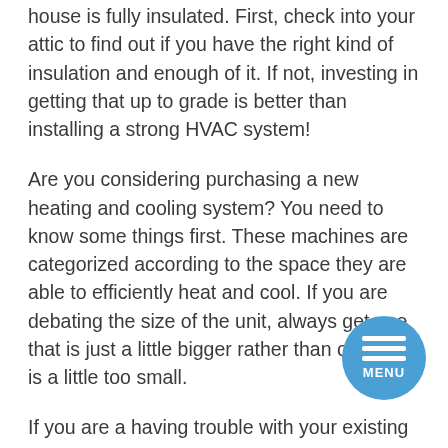house is fully insulated. First, check into your attic to find out if you have the right kind of insulation and enough of it. If not, investing in getting that up to grade is better than installing a strong HVAC system!
Are you considering purchasing a new heating and cooling system? You need to know some things first. These machines are categorized according to the space they are able to efficiently heat and cool. If you are debating the size of the unit, always get one that is just a little bigger rather than one that is a little too small.
If you are a having trouble with your existing system, check for leaks in the ducts. You can have your utility company test for you, sometimes for free or less than an HVAC contractor would charge. Once leaks have been fixed, you will save substantial money on heating and cooling costs.